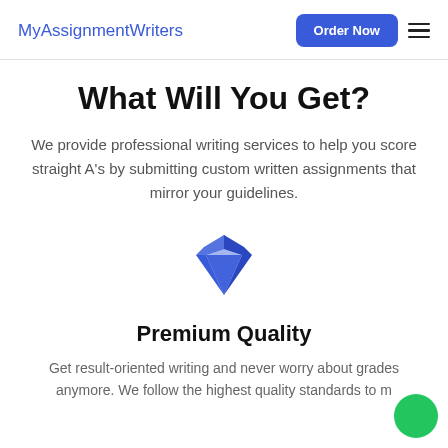MyAssignmentWriters  Order Now
What Will You Get?
We provide professional writing services to help you score straight A's by submitting custom written assignments that mirror your guidelines.
[Figure (illustration): Blue diamond/gem icon]
Premium Quality
Get result-oriented writing and never worry about grades anymore. We follow the highest quality standards to m…